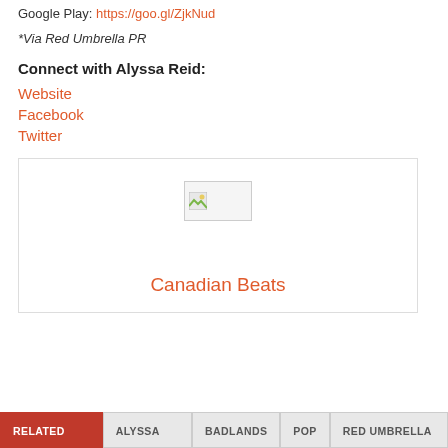Google Play: https://goo.gl/ZjkNud
*Via Red Umbrella PR
Connect with Alyssa Reid:
Website
Facebook
Twitter
[Figure (other): Canadian Beats logo/image placeholder with broken image icon and text 'Canadian Beats' in orange]
RELATED ITEMS | ALYSSA REID | BADLANDS | POP | RED UMBRELLA PR